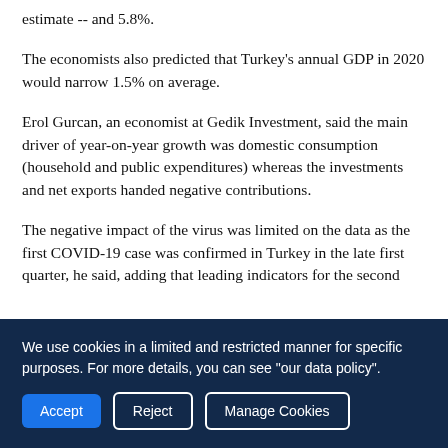estimate -- and 5.8%.
The economists also predicted that Turkey's annual GDP in 2020 would narrow 1.5% on average.
Erol Gurcan, an economist at Gedik Investment, said the main driver of year-on-year growth was domestic consumption (household and public expenditures) whereas the investments and net exports handed negative contributions.
The negative impact of the virus was limited on the data as the first COVID-19 case was confirmed in Turkey in the late first quarter, he said, adding that leading indicators for the second
We use cookies in a limited and restricted manner for specific purposes. For more details, you can see "our data policy".